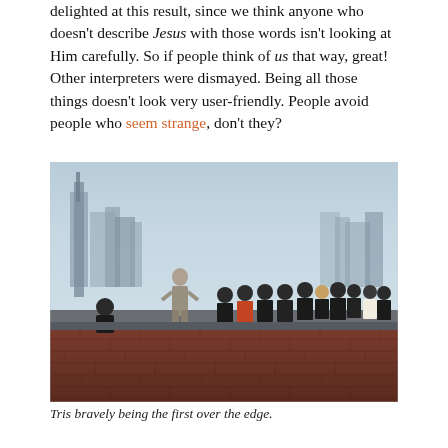delighted at this result, since we think anyone who doesn't describe Jesus with those words isn't looking at Him carefully. So if people think of us that way, great! Other interpreters were dismayed. Being all those things doesn't look very user-friendly. People avoid people who seem strange, don't they?
[Figure (photo): A young woman in a gray dress stands on the edge of a rooftop with a city skyline in the background, facing a crowd of people dressed in dark clothing standing on the rooftop ledge. A brick wall is visible in the foreground.]
Tris bravely being the first over the edge.